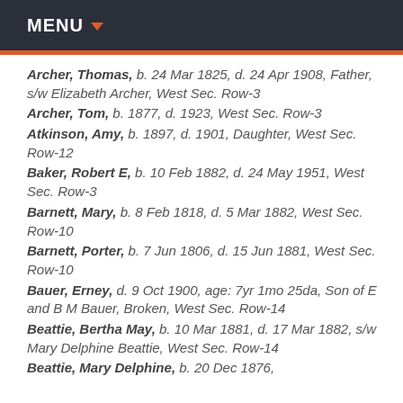MENU
Archer, Thomas, b. 24 Mar 1825, d. 24 Apr 1908, Father, s/w Elizabeth Archer, West Sec. Row-3
Archer, Tom, b. 1877, d. 1923, West Sec. Row-3
Atkinson, Amy, b. 1897, d. 1901, Daughter, West Sec. Row-12
Baker, Robert E, b. 10 Feb 1882, d. 24 May 1951, West Sec. Row-3
Barnett, Mary, b. 8 Feb 1818, d. 5 Mar 1882, West Sec. Row-10
Barnett, Porter, b. 7 Jun 1806, d. 15 Jun 1881, West Sec. Row-10
Bauer, Erney, d. 9 Oct 1900, age: 7yr 1mo 25da, Son of E and B M Bauer, Broken, West Sec. Row-14
Beattie, Bertha May, b. 10 Mar 1881, d. 17 Mar 1882, s/w Mary Delphine Beattie, West Sec. Row-14
Beattie, Mary Delphine, b. 20 Dec 1876,